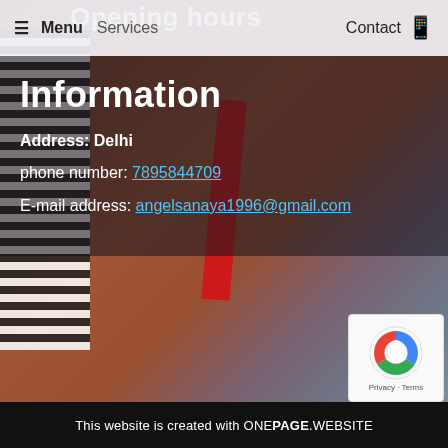Opening hours
≡ Menu  Services  Contact 📱
Information
Address: Delhi
phone number: 7895844709
E-mail address: angelsanaya1996@gmail.com
[Figure (photo): Background photo of a person in a striped bikini at a beach, with red strap visible, ocean in background]
[Figure (other): Google reCAPTCHA badge with spinning logo, Privacy and Terms links]
This website is created with ONEPAGE.WEBSITE